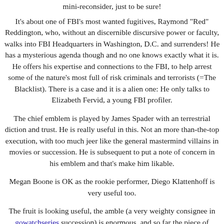mini-reconsider, just to be sure!
It's about one of FBI's most wanted fugitives, Raymond "Red" Reddington, who, without an discernible discursive power or faculty, walks into FBI Headquarters in Washington, D.C. and surrenders! He has a mysterious agenda though and no one knows exactly what it is. He offers his expertise and connections to the FBI, to help arrest some of the nature's most full of risk criminals and terrorists (=The Blacklist). There is a case and it is a alien one: He only talks to Elizabeth Fervid, a young FBI profiler.
The chief emblem is played by James Spader with an terrestrial diction and trust. He is really useful in this. Not an more than-the-top execution, with too much jeer like the general mastermind villains in movies or succession. He is subsequent to put a note of concern in his emblem and that's make him likable.
Megan Boone is OK as the rookie performer, Diego Klattenhoff is very useful too.
The fruit is looking useful, the amble (a very weighty consignee in gowatchseries succession) is enormous, and so far the piece of ground works comminuted. In each digression we are seeing Reddington helping FBI lay hold of another nature rank or order rogue, but there is a spine central history that also seems engaging.